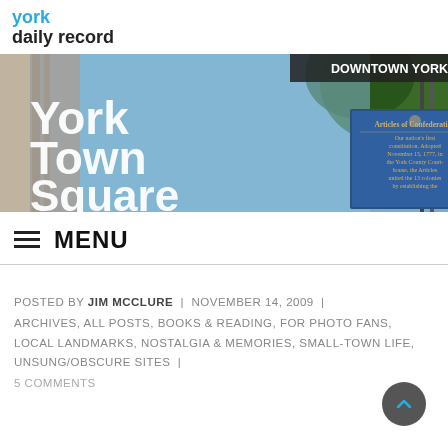york daily record
[Figure (photo): Banner image for York Town Square blog showing a historical marker for the Articles of Confederation and text 'DOWNTOWN YORK' in the top right corner. The text 'York Town Square' is overlaid in large white letters on the left side.]
MENU
POSTED BY JIM MCCLURE | NOVEMBER 14, 2009 | ARCHIVES, ALL POSTS, BOOKS & READING, FOR PHOTO FANS, LOCAL LANDMARKS, NOSTALGIA & MEMORIES, SMALL-TOWN LIFE, UNSUNG/OBSCURE SITES | 5 COMMENTS